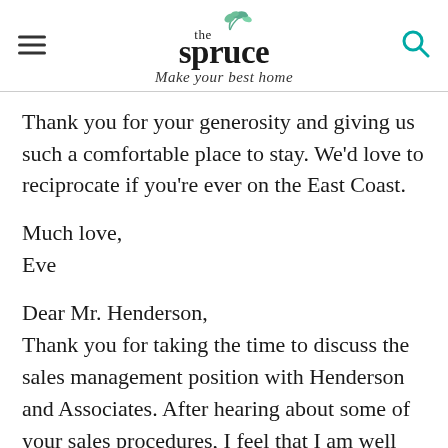the spruce — Make your best home
Thank you for your generosity and giving us such a comfortable place to stay. We'd love to reciprocate if you're ever on the East Coast.
Much love,
Eve
Dear Mr. Henderson,
Thank you for taking the time to discuss the sales management position with Henderson and Associates. After hearing about some of your sales procedures, I feel that I am well suited for this job. If you have any additional questions…